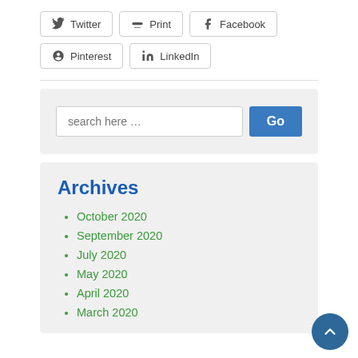Twitter
Print
Facebook
Pinterest
LinkedIn
search here …
Archives
October 2020
September 2020
July 2020
May 2020
April 2020
March 2020